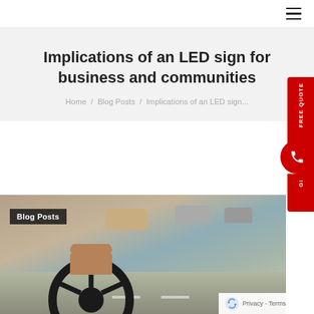≡
Implications of an LED sign for business and communities
Home / Blog Posts / Implications of an LED sign...
[Figure (photo): Woman driving a car viewed from behind, with road and traffic visible through the windshield. A 'Blog Posts' label overlays the lower left of the image.]
Dec
10
2014
Privacy - Terms